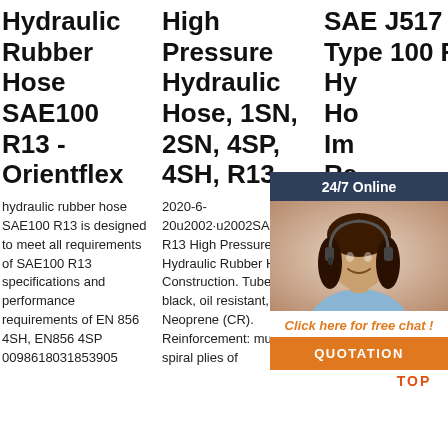Hydraulic Rubber Hose SAE100 R13 - Orientflex
hydraulic rubber hose SAE100 R13 is designed to meet all requirements of SAE100 R13 specifications and performance requirements of EN 856 4SH, EN856 4SP 0098618031853905
High Pressure Hydraulic Hose, 1SN, 2SN, 4SP, 4SH, R13
2020-6-20u2002·u2002SAE 100 R13 High Pressure Hydraulic Rubber Hose. Construction. Tube: black, oil resistant, Neoprene (CR). Reinforcement: multiple spiral plies of
SAE J517 Type 100 R13 Hydraulic Hose Im Re
2020 11u2002 J517 type hydraulic hose is suitable for engineering machinery and continuous working hydraulic
[Figure (other): Customer service chat widget with 24/7 Online header, photo of woman with headset, 'Click here for free chat!' text, and QUOTATION button]
[Figure (logo): TOP logo with orange dots arranged in triangle/arc pattern above the word TOP]